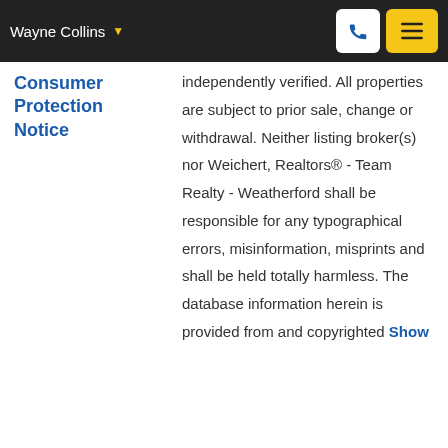Wayne Collins
Consumer Protection Notice
independently verified. All properties are subject to prior sale, change or withdrawal. Neither listing broker(s) nor Weichert, Realtors® - Team Realty - Weatherford shall be responsible for any typographical errors, misinformation, misprints and shall be held totally harmless. The database information herein is provided from and copyrighted Show